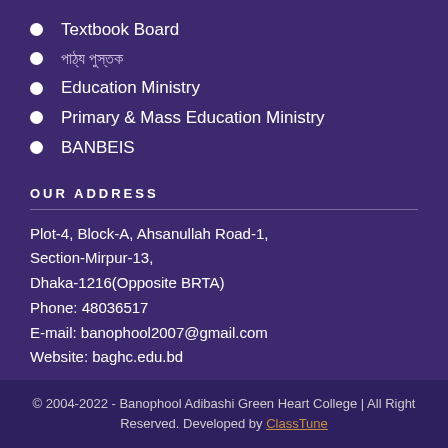Textbook Board
পাঠ্য পুস্তক
Education Ministry
Primary & Mass Education Ministry
BANBEIS
OUR ADDRESS
Plot-4, Block-A, Ahsanullah Road-1, Section-Mirpur-13, Dhaka-1216(Opposite BRTA)
Phone: 48036517
E-mail: banophool2007@gmail.com
Website: baghc.edu.bd
© 2004-2022 - Banophool Adibashi Green Heart College | All Right Reserved. Developed by ClassTune